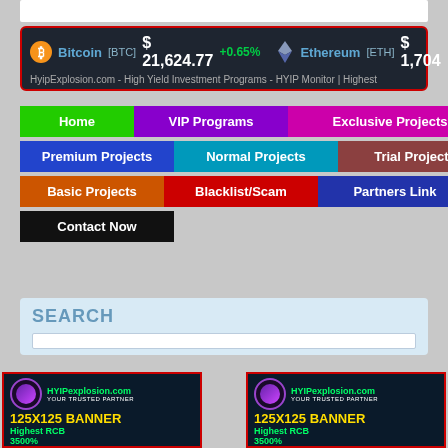Bitcoin [BTC] $21,624.77 +0.65% Ethereum [ETH] $1,704
HyipExplosion.com - High Yield Investment Programs - HYIP Monitor | Highest
Home
VIP Programs
Exclusive Projects
Premium Projects
Normal Projects
Trial Projects
Basic Projects
Blacklist/Scam
Partners Link
Contact Now
SEARCH
[Figure (infographic): HYIPexplosion.com Your Trusted Partner 125X125 BANNER Highest RCB 3500% High Quality Services - left banner ad]
[Figure (infographic): HYIPexplosion.com Your Trusted Partner 125X125 BANNER Highest RCB 3500% High Quality Services - right banner ad]